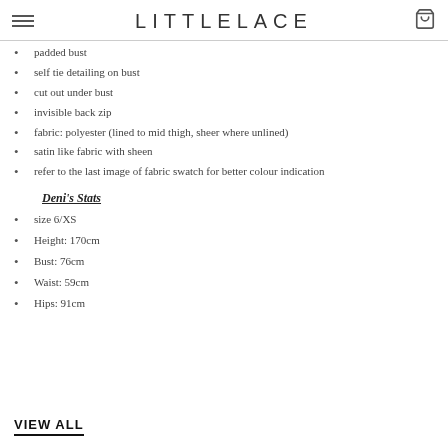LITTLELACE
padded bust
self tie detailing on bust
cut out under bust
invisible back zip
fabric: polyester (lined to mid thigh, sheer where unlined)
satin like fabric with sheen
refer to the last image of fabric swatch for better colour indication
Deni's Stats
size 6/XS
Height: 170cm
Bust: 76cm
Waist: 59cm
Hips: 91cm
VIEW ALL